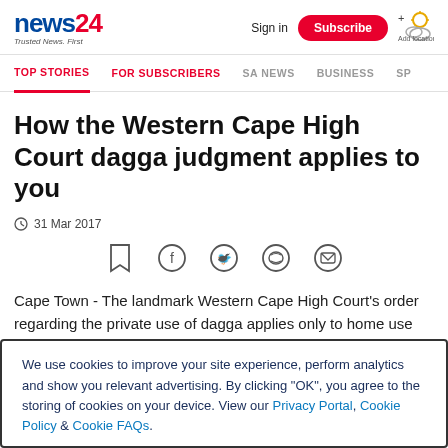news24 Trusted News. First | Sign in | Subscribe | + Add location
TOP STORIES | FOR SUBSCRIBERS | SA NEWS | BUSINESS | SP
How the Western Cape High Court dagga judgment applies to you
31 Mar 2017
Cape Town - The landmark Western Cape High Court's order regarding the private use of dagga applies only to home use and cultivation, cautioned Dagga Party leader Jeremy Acton after the ruling in Cape Town on Friday.
We use cookies to improve your site experience, perform analytics and show you relevant advertising. By clicking "OK", you agree to the storing of cookies on your device. View our Privacy Portal, Cookie Policy & Cookie FAQs.